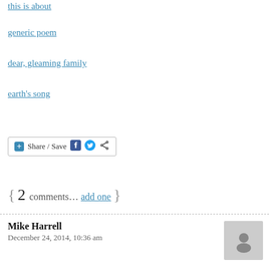this is about
generic poem
dear, gleaming family
earth's song
[Figure (other): Share / Save button with Facebook, Twitter, and share icons]
{ 2 comments… add one }
Mike Harrell
December 24, 2014, 10:36 am